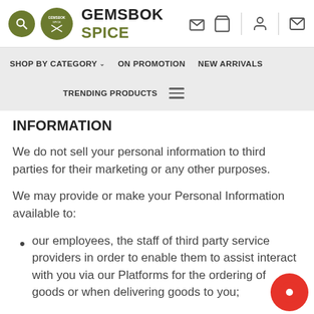GEMSBOK SPICE
SHOP BY CATEGORY   ON PROMOTION   NEW ARRIVALS   TRENDING PRODUCTS
INFORMATION
We do not sell your personal information to third parties for their marketing or any other purposes.
We may provide or make your Personal Information available to:
our employees, the staff of third party service providers in order to enable them to assist interact with you via our Platforms for the ordering of goods or when delivering goods to you;